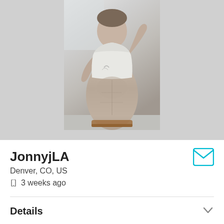[Figure (photo): Profile photo of a shirtless man lifting his white tank top, with tattoos visible on chest, muscular build, photographed outdoors against a light background.]
JonnyjLA
Denver, CO, US
3 weeks ago
Details